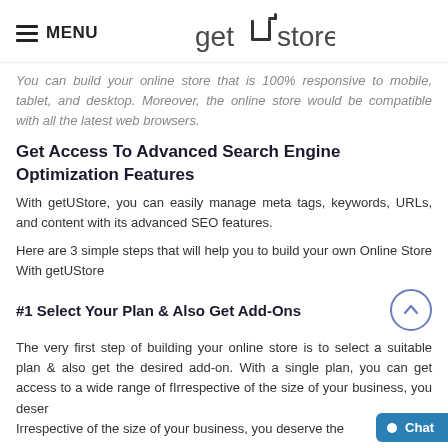MENU | getUstore
You can build your online store that is 100% responsive to mobile, tablet, and desktop. Moreover, the online store would be compatible with all the latest web browsers.
Get Access To Advanced Search Engine Optimization Features
With getUStore, you can easily manage meta tags, keywords, URLs, and content with its advanced SEO features.
Here are 3 simple steps that will help you to build your own Online Store With getUStore
#1 Select Your Plan & Also Get Add-Ons
The very first step of building your online store is to select a suitable plan & also get the desired add-on. With a single plan, you can get access to a wide range of f... Irrespective of the size of your business, you deserve the